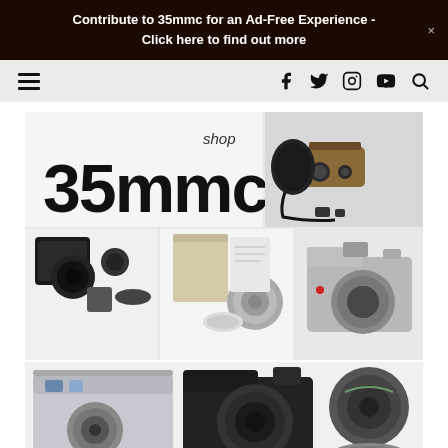Contribute to 35mmc for an Ad-Free Experience - Click here to find out more
[Figure (screenshot): Website navigation bar with hamburger menu on left and social media icons (Facebook, Twitter, Instagram, YouTube) and search icon on right]
[Figure (photo): 35mmc shop advertisement image showing logo and grid of film cameras and lenses including a Holga-style camera, various SLR cameras, lenses and camera accessories]
High Quality Buy